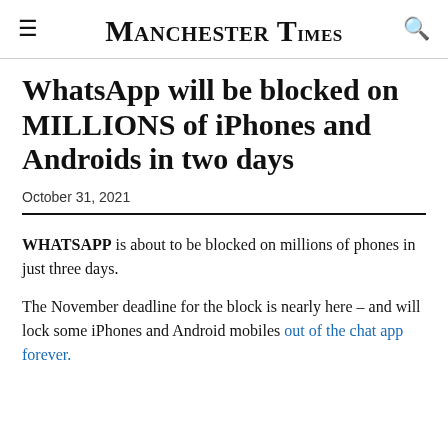Manchester Times
WhatsApp will be blocked on MILLIONS of iPhones and Androids in two days
October 31, 2021
WHATSAPP is about to be blocked on millions of phones in just three days.
The November deadline for the block is nearly here – and will lock some iPhones and Android mobiles out of the chat app forever.